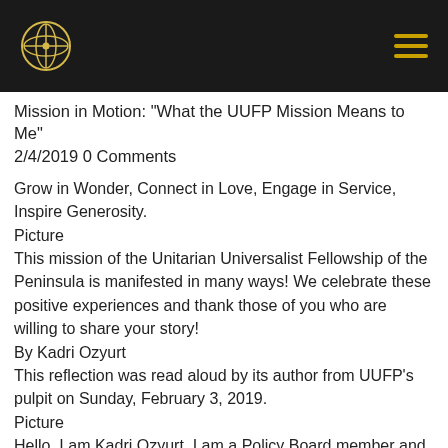UUFP logo and hamburger menu
Mission in Motion: "What the UUFP Mission Means to Me"
2/4/2019 0 Comments
Grow in Wonder, Connect in Love, Engage in Service, Inspire Generosity.
Picture
This mission of the Unitarian Universalist Fellowship of the Peninsula is manifested in many ways! We celebrate these positive experiences and thank those of you who are willing to share your story!
By Kadri Ozyurt
This reflection was read aloud by its author from UUFP's pulpit on Sunday, February 3, 2019.
Picture
Hello. I am Kadri Ozyurt. I am a Policy Board member and the Treasurer of this congregation. I have been a member of the UUFP since March 2017. Before that, I had been a Friend of Unitarian Universalism for about 35 years,